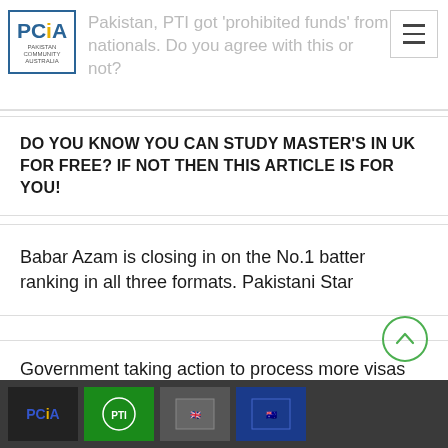Pakistan, PTI got 'prohibited funds' from nationals. Do you agree with this or not?
DO YOU KNOW YOU CAN STUDY MASTER'S IN UK FOR FREE? IF NOT THEN THIS ARTICLE IS FOR YOU!
Babar Azam is closing in on the No.1 batter ranking in all three formats. Pakistani Star
Government taking action to process more visas faster
[Figure (other): Footer strip with logos/icons of Pakistan Community Australia and other related logos on dark background]